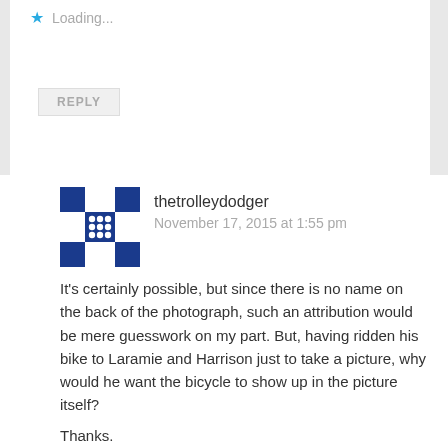Loading...
REPLY
thetrolleydodger
November 17, 2015 at 1:55 pm
It's certainly possible, but since there is no name on the back of the photograph, such an attribution would be mere guesswork on my part. But, having ridden his bike to Laramie and Harrison just to take a picture, why would he want the bicycle to show up in the picture itself?
Thanks.
Loading...
REPLY